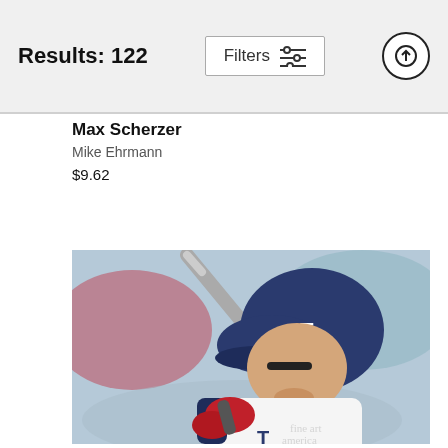Results: 122
Filters
Max Scherzer
Mike Ehrmann
$9.62
[Figure (photo): Baseball player in Texas Rangers uniform holding a bat in batting stance, wearing blue helmet, red batting gloves, with blurred crowd in background. Watermark reads 'fine art america'.]